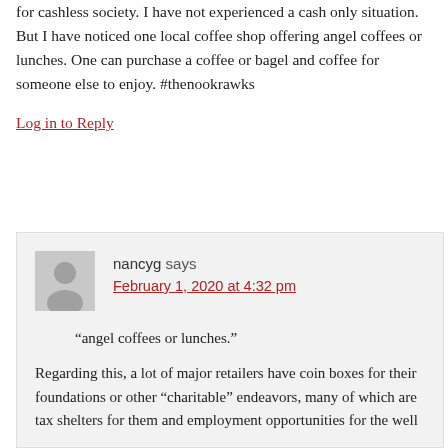for cashless society. I have not experienced a cash only situation. But I have noticed one local coffee shop offering angel coffees or lunches. One can purchase a coffee or bagel and coffee for someone else to enjoy. #thenookrawks
Log in to Reply
nancyg says
February 1, 2020 at 4:32 pm
“angel coffees or lunches.”
Regarding this, a lot of major retailers have coin boxes for their foundations or other “charitable” endeavors, many of which are tax shelters for them and employment opportunities for the well